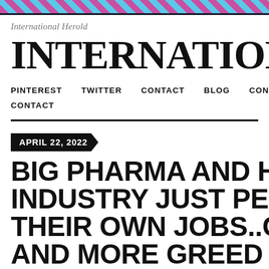International Herold
INTERNATIONAL H
PINTEREST
TWITTER
CONTACT
BLOG
CONTACT
ABOUT
CONTACT
APRIL 22, 2022
BIG PHARMA AND HEALTH INDUSTRY JUST PERPETUATED THEIR OWN JOBS..GREED AND MORE GREED